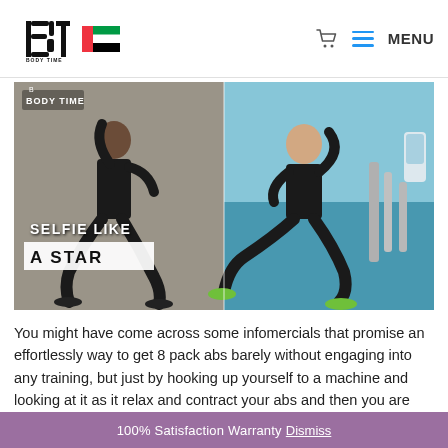Body Time — MENU
[Figure (photo): Two men in black EMS fitness suits exercising. Left man doing a lunge, right man using gym equipment. Text overlay reads SELFIE LIKE A STAR with Body Time logo watermark. UAE flag visible in header.]
You might have come across some infomercials that promise an effortlessly way to get 8 pack abs barely without engaging into any training, but just by hooking up yourself to a machine and looking at it as it relax and contract your abs and then you are
100% Satisfaction Warranty Dismiss